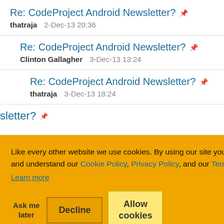Re: CodeProject Android Newsletter?
thatraja   2-Dec-13 20:36
Re: CodeProject Android Newsletter?
Clinton Gallagher   3-Dec-13 13:24
Re: CodeProject Android Newsletter?
thatraja   3-Dec-13 18:24
Re: CodeProject Android Newsletter? (partially visible)
Like every other website we use cookies. By using our site you acknowledge that you have read and understand our Cookie Policy, Privacy Policy, and our Terms of Service.
Learn more
Ask me later   Decline   Allow cookies
Re: CodeProject Android Newsletter? (partially visible)
Re: CodeProject Android Newsletter? (partially visible)
Re: CodeProject Android Newsletter? (partially visible)